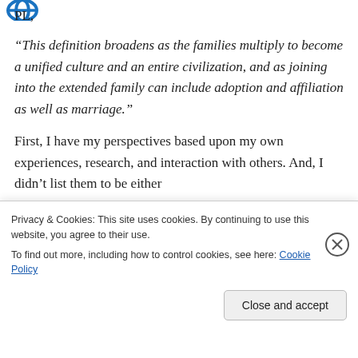[Figure (logo): Blue circular logo icon (partially visible) in top left corner]
PL,
“This definition broadens as the families multiply to become a unified culture and an entire civilization, and as joining into the extended family can include adoption and affiliation as well as marriage.”
First, I have my perspectives based upon my own experiences, research, and interaction with others. And, I didn’t list them to be either
Privacy & Cookies: This site uses cookies. By continuing to use this website, you agree to their use.
To find out more, including how to control cookies, see here: Cookie Policy
Close and accept